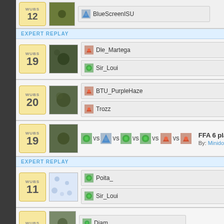WUBS 12 - BlueScreenISU
EXPERT REPLAY
WUBS 19 - Dle_Martega vs Sir_Loui - Sir_Loui vs Dle_M... By: Martega - Added
WUBS 20 - BTU_PurpleHaze vs Trozz - Unbelievable Finis... By: Trozz - Added 25
WUBS 19 - FFA 6 players Ope... By: Minidoow - Added
EXPERT REPLAY
WUBS 11 - Poita_ vs Sir_Loui - Sir_Loui Vs Poita_ By: Sir_Loui - Added
WUBS - Diam... - SkyLog vs Diam...